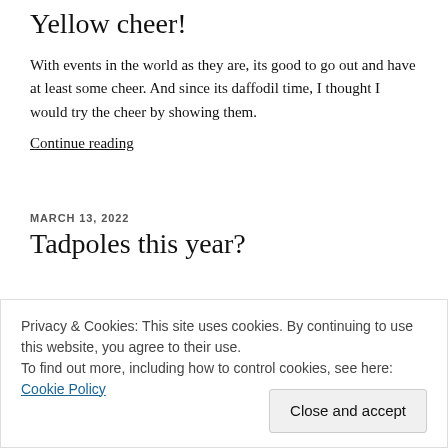Yellow cheer!
With events in the world as they are, its good to go out and have at least some cheer. And since its daffodil time, I thought I would try the cheer by showing them.
Continue reading
MARCH 13, 2022
Tadpoles this year?
Privacy & Cookies: This site uses cookies. By continuing to use this website, you agree to their use.
To find out more, including how to control cookies, see here: Cookie Policy
Close and accept
be seen. In an effort to prevent premature drying out of